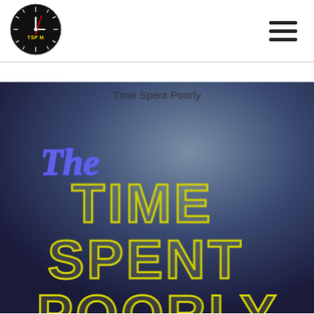[Figure (logo): Clock logo with 'TSP M' text inside, black circular clock face with tick marks and a red second hand]
[Figure (illustration): Promotional image for 'The Time Spent Poorly' podcast/show with stylized neon-style yellow text on a dark blue/grey gradient background. 'The' in blue italic script, 'TIME SPENT POORLY' in large yellow outlined retro lettering. Caption 'Time Spent Poorly' appears at top.]
Time Spent Poorly